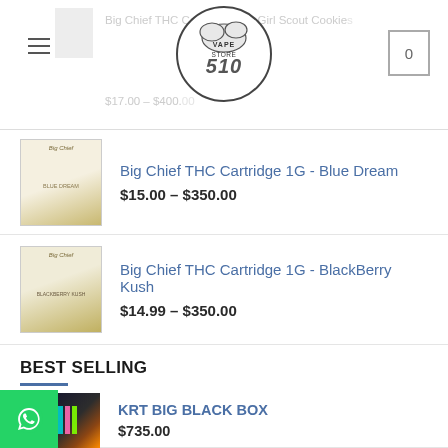[Figure (screenshot): Website header with Vape Store 510 logo (cloud/smoke graphic), hamburger menu icon, shopping cart showing 0 items, and partially visible product listing for Big Chief THC Cartridge 1G - Girl Scout Cookies priced $17.00 - $400.xx]
Big Chief THC Cartridge 1G - Blue Dream
$15.00 – $350.00
Big Chief THC Cartridge 1G - BlackBerry Kush
$14.99 – $350.00
BEST SELLING
KRT BIG BLACK BOX
$735.00
CHOICESLAB FULL GRAM BOX
$600.00